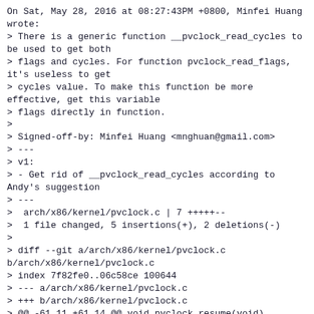On Sat, May 28, 2016 at 08:27:43PM +0800, Minfei Huang wrote:
> There is a generic function __pvclock_read_cycles to be used to get both
> flags and cycles. For function pvclock_read_flags, it's useless to get
> cycles value. To make this function be more effective, get this variable
> flags directly in function.
>
> Signed-off-by: Minfei Huang <mnghuan@gmail.com>
> ---
> v1:
> - Get rid of __pvclock_read_cycles according to Andy's suggestion
> ---
>  arch/x86/kernel/pvclock.c | 7 +++++--
>  1 file changed, 5 insertions(+), 2 deletions(-)
>
> diff --git a/arch/x86/kernel/pvclock.c b/arch/x86/kernel/pvclock.c
> index 7f82fe0..06c58ce 100644
> --- a/arch/x86/kernel/pvclock.c
> +++ b/arch/x86/kernel/pvclock.c
> @@ -61,11 +61,14 @@ void pvclock_resume(void)
>  u8 pvclock_read_flags(struct pvclock_vcpu_time_info *src)
>  {
>       unsigned version;
> -     cycle_t ret;